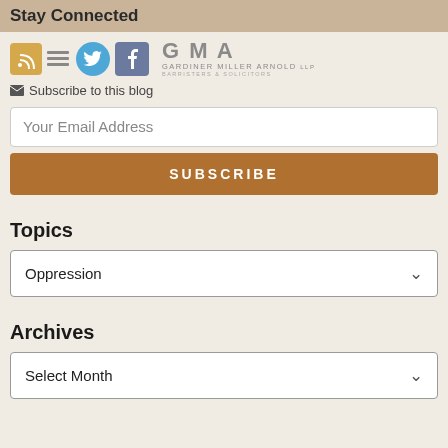Stay Connected
[Figure (logo): Social media icons (RSS, Twitter, Facebook) alongside GMA Gardiner Miller Arnold LLP Barristers & Solicitors firm logo]
Subscribe to this blog
Your Email Address
SUBSCRIBE
Topics
Oppression
Archives
Select Month